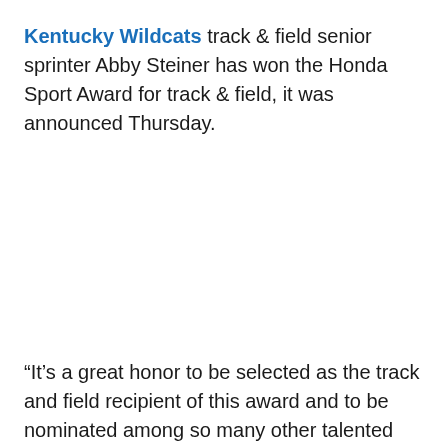Kentucky Wildcats track & field senior sprinter Abby Steiner has won the Honda Sport Award for track & field, it was announced Thursday.
“It’s a great honor to be selected as the track and field recipient of this award and to be nominated among so many other talented and strong women. A special